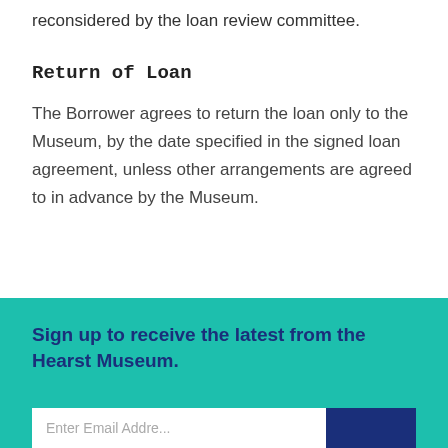reconsidered by the loan review committee.
Return of Loan
The Borrower agrees to return the loan only to the Museum, by the date specified in the signed loan agreement, unless other arrangements are agreed to in advance by the Museum.
Sign up to receive the latest from the Hearst Museum.
Enter Email Address